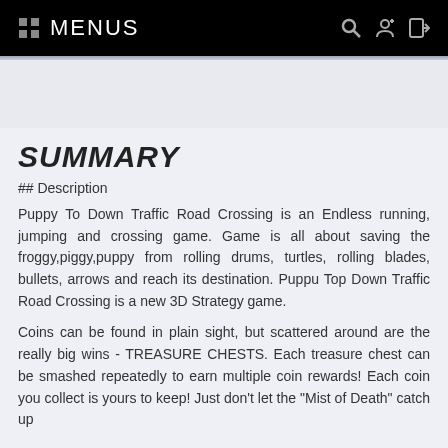:: MENUS
SUMMARY
## Description
Puppy To Down Traffic Road Crossing is an Endless running, jumping and crossing game. Game is all about saving the froggy,piggy,puppy from rolling drums, turtles, rolling blades, bullets, arrows and reach its destination. Puppu Top Down Traffic Road Crossing is a new 3D Strategy game.
Coins can be found in plain sight, but scattered around are the really big wins - TREASURE CHESTS. Each treasure chest can be smashed repeatedly to earn multiple coin rewards! Each coin you collect is yours to keep! Just don't let the "Mist of Death" catch up